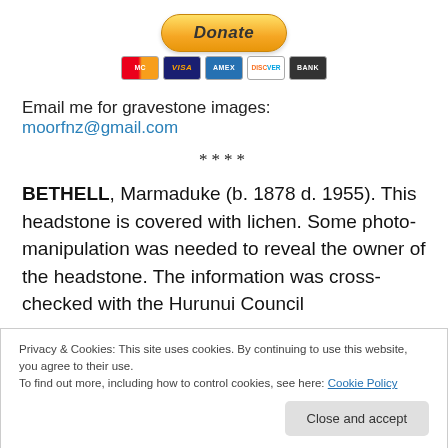[Figure (other): PayPal Donate button with credit card icons (Mastercard, Visa, Amex, Discover, Bank)]
Email me for gravestone images: moorfnz@gmail.com
****
BETHELL, Marmaduke (b. 1878 d. 1955). This headstone is covered with lichen. Some photo-manipulation was needed to reveal the owner of the headstone. The information was cross-checked with the Hurunui Council
Privacy & Cookies: This site uses cookies. By continuing to use this website, you agree to their use.
To find out more, including how to control cookies, see here: Cookie Policy
Close and accept